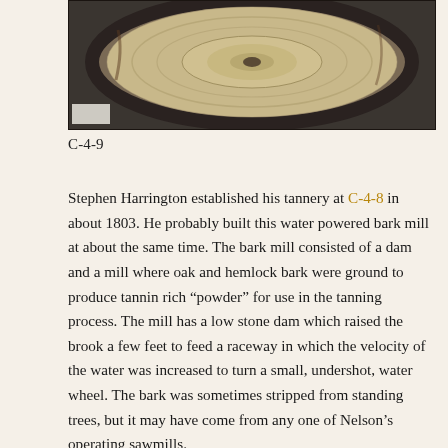[Figure (photo): Close-up photograph of a circular millstone or grinding wheel viewed from above, showing a round stone with a wooden or metal ring around it, filled with light-colored granular material (ground bark/powder).]
C-4-9
Stephen Harrington established his tannery at C-4-8 in about 1803. He probably built this water powered bark mill at about the same time. The bark mill consisted of a dam and a mill where oak and hemlock bark were ground to produce tannin rich “powder” for use in the tanning process. The mill has a low stone dam which raised the brook a few feet to feed a raceway in which the velocity of the water was increased to turn a small, undershot, water wheel. The bark was sometimes stripped from standing trees, but it may have come from any one of Nelson’s operating sawmills.